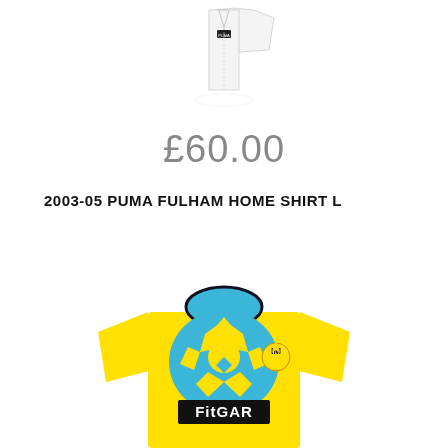[Figure (photo): Partial view of a white Puma Fulham home shirt, showing the collar and upper chest area with a Puma logo label visible at the collar.]
£60.00
2003-05 PUMA FULHAM HOME SHIRT L
[Figure (photo): Yellow and blue Inter Milan away football shirt with a checkered/optical illusion pattern on the chest and sleeves, a blue collar, Inter Milan badge, and a black FITGAR sponsor rectangle on the front.]